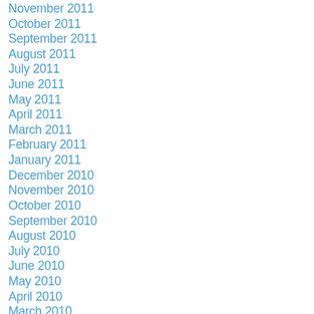November 2011
October 2011
September 2011
August 2011
July 2011
June 2011
May 2011
April 2011
March 2011
February 2011
January 2011
December 2010
November 2010
October 2010
September 2010
August 2010
July 2010
June 2010
May 2010
April 2010
March 2010